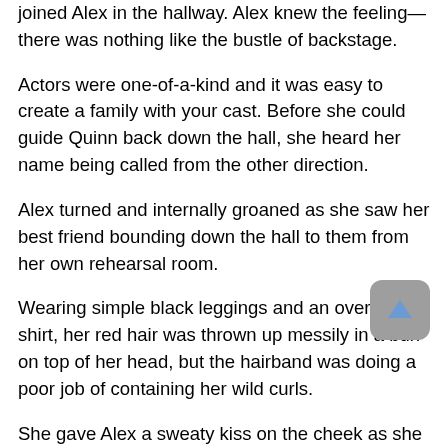joined Alex in the hallway. Alex knew the feeling—there was nothing like the bustle of backstage.
Actors were one-of-a-kind and it was easy to create a family with your cast. Before she could guide Quinn back down the hall, she heard her name being called from the other direction.
Alex turned and internally groaned as she saw her best friend bounding down the hall to them from her own rehearsal room.
Wearing simple black leggings and an oversized t-shirt, her red hair was thrown up messily in a bun on top of her head, but the hairband was doing a poor job of containing her wild curls.
She gave Alex a sweaty kiss on the cheek as she arrived at her side, pushing in to avoid getting hit by the rush of